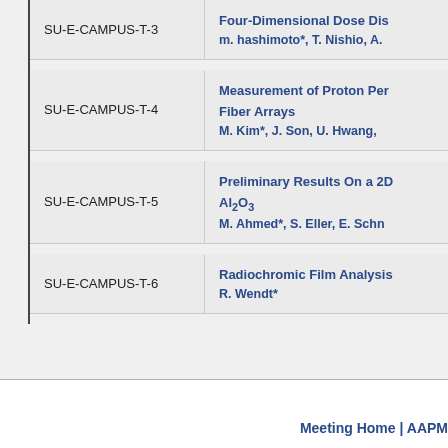| ID | Title / Authors |
| --- | --- |
| SU-E-CAMPUS-T-3 | Four-Dimensional Dose Dis...
m. hashimoto*, T. Nishio, A... |
| SU-E-CAMPUS-T-4 | Measurement of Proton Per... Fiber Arrays
M. Kim*, J. Son, U. Hwang, ... |
| SU-E-CAMPUS-T-5 | Preliminary Results On a 2D... Al2O3
M. Ahmed*, S. Eller, E. Schn... |
| SU-E-CAMPUS-T-6 | Radiochromic Film Analysis...
R. Wendt* |
Meeting Home | AAPM